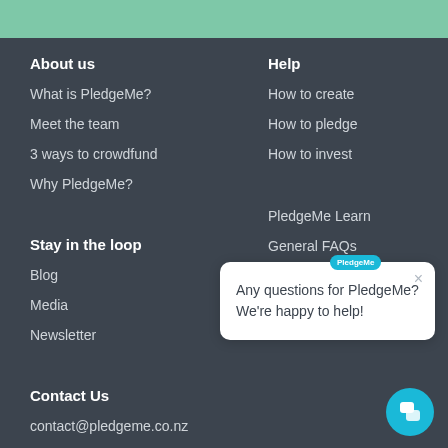About us
What is PledgeMe?
Meet the team
3 ways to crowdfund
Why PledgeMe?
Stay in the loop
Blog
Media
Newsletter
Contact Us
contact@pledgeme.co.nz
Phone: 027 Pledge 1
Help
How to create
How to pledge
How to invest
PledgeMe Learn
General FAQs
[Figure (screenshot): Chat popup with message: Any questions for PledgeMe? We're happy to help! with close button and PledgeMe label bubble, and teal circular chat icon button]